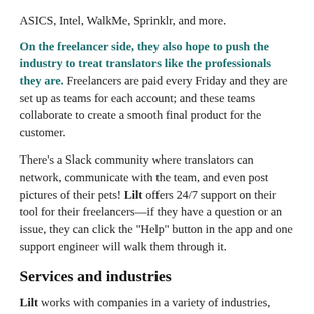ASICS, Intel, WalkMe, Sprinklr, and more.
On the freelancer side, they also hope to push the industry to treat translators like the professionals they are. Freelancers are paid every Friday and they are set up as teams for each account; and these teams collaborate to create a smooth final product for the customer.
There’s a Slack community where translators can network, communicate with the team, and even post pictures of their pets! Lilt offers 24/7 support on their tool for their freelancers—if they have a question or an issue, they can click the “Help” button in the app and one support engineer will walk them through it.
Services and industries
Lilt works with companies in a variety of industries, from cybersecurity to fashion. Right now, translators have the opportunity to work on marketing, technical, gaming, user interface content, and more —but they’re constantly